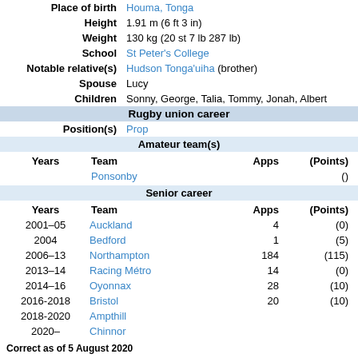| Place of birth | Houma, Tonga |
| Height | 1.91 m (6 ft 3 in) |
| Weight | 130 kg (20 st 7 lb 287 lb) |
| School | St Peter's College |
| Notable relative(s) | Hudson Tonga'uiha (brother) |
| Spouse | Lucy |
| Children | Sonny, George, Talia, Tommy, Jonah, Albert |
| Rugby union career |  |
| Position(s) | Prop |
| Amateur team(s) |  |
| Years | Team | Apps | (Points) |
|  | Ponsonby |  | () |
| Senior career |  |
| Years | Team | Apps | (Points) |
| 2001–05 | Auckland | 4 | (0) |
| 2004 | Bedford | 1 | (5) |
| 2006–13 | Northampton | 184 | (115) |
| 2013–14 | Racing Métro | 14 | (0) |
| 2014–16 | Oyonnax | 28 | (10) |
| 2016-2018 | Bristol | 20 | (10) |
| 2018-2020 | Ampthill |  |  |
| 2020– | Chinnor |  |  |
Correct as of 5 August 2020